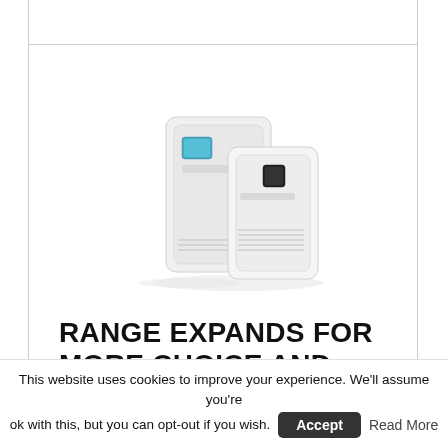[Figure (photo): Two white wall-mounted gas boiler units (NCB series by Navien), one larger and one smaller, photographed on a white background.]
RANGE EXPANDS FOR MORE CHOICE AND EFFICIENCY »
The NCB family of gas boilers has been enhanced with the addition of the new high efficiency NCB500 and NCB300 models. Navien says ...
This website uses cookies to improve your experience. We'll assume you're ok with this, but you can opt-out if you wish. Accept Read More